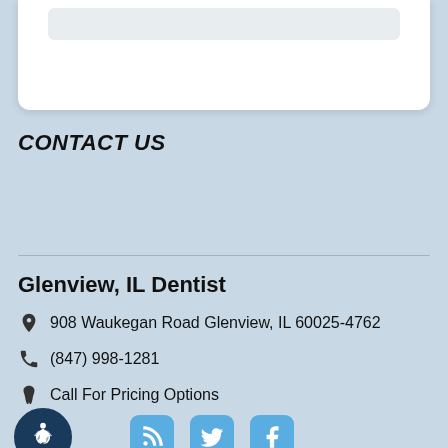CONTACT US
Glenview, IL Dentist
908 Waukegan Road Glenview, IL 60025-4762
(847) 998-1281
Call For Pricing Options